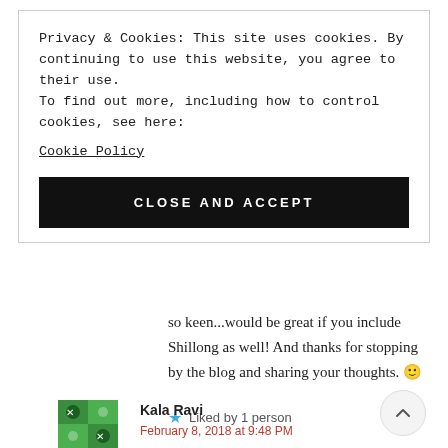Privacy & Cookies: This site uses cookies. By continuing to use this website, you agree to their use.
To find out more, including how to control cookies, see here:
Cookie Policy
CLOSE AND ACCEPT
so keen...would be great if you include Shillong as well! And thanks for stopping by the blog and sharing your thoughts. 🙂
Liked by 1 person
REPLY
Kala Ravi
February 8, 2018 at 9:48 PM